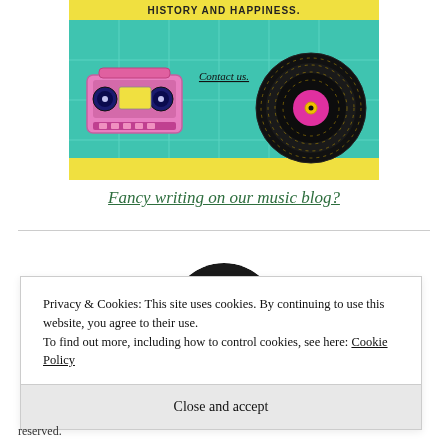[Figure (illustration): Retro music blog banner with yellow and teal background, pink boombox on the left, vinyl record on the right, text reading 'HISTORY AND HAPPINESS.' at top, and 'Contact us.' link in the center.]
Fancy writing on our music blog?
[Figure (photo): Circular cropped photo showing a person's face, partially visible at top.]
Privacy & Cookies: This site uses cookies. By continuing to use this website, you agree to their use.
To find out more, including how to control cookies, see here: Cookie Policy
Close and accept
reserved.